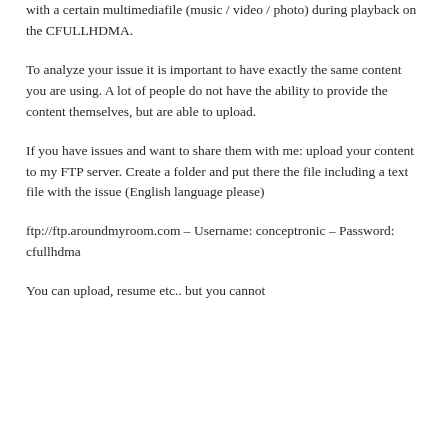with a certain multimediafile (music / video / photo) during playback on the CFULLHDMA.
To analyze your issue it is important to have exactly the same content you are using. A lot of people do not have the ability to provide the content themselves, but are able to upload.
If you have issues and want to share them with me: upload your content to my FTP server. Create a folder and put there the file including a text file with the issue (English language please)
ftp://ftp.aroundmyroom.com – Username: conceptronic – Password: cfullhdma
You can upload, resume etc.. but you cannot